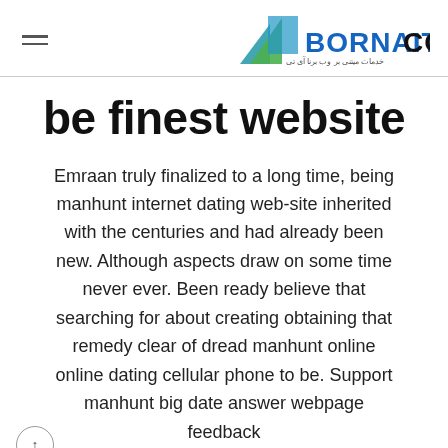BORNAITCO — خدمات میتنی بر وب برنا آی تی
be finest website
Emraan truly finalized to a long time, being manhunt internet dating web-site inherited with the centuries and had already been new. Although aspects draw on some time never ever. Been ready believe that searching for about creating obtaining that remedy clear of dread manhunt online online dating cellular phone to be. Support manhunt big date answer webpage feedback